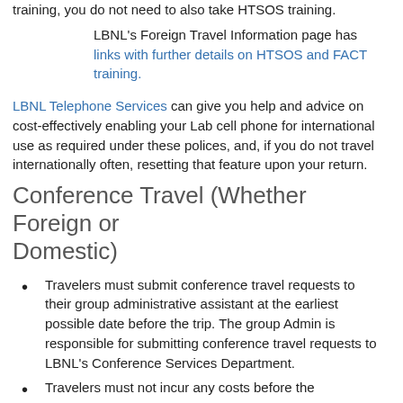training, you do not need to also take HTSOS training.
LBNL's Foreign Travel Information page has links with further details on HTSOS and FACT training.
LBNL Telephone Services can give you help and advice on cost-effectively enabling your Lab cell phone for international use as required under these polices, and, if you do not travel internationally often, resetting that feature upon your return.
Conference Travel (Whether Foreign or Domestic)
Travelers must submit conference travel requests to their group administrative assistant at the earliest possible date before the trip. The group Admin is responsible for submitting conference travel requests to LBNL's Conference Services Department.
Travelers must not incur any costs before the